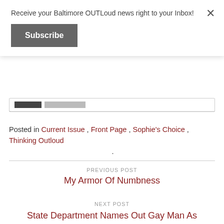Receive your Baltimore OUTLoud news right to your Inbox!
Subscribe
Posted in Current Issue , Front Page , Sophie's Choice , Thinking Outloud .
PREVIOUS POST
My Armor Of Numbness
NEXT POST
State Department Names Out Gay Man As Spokesperson